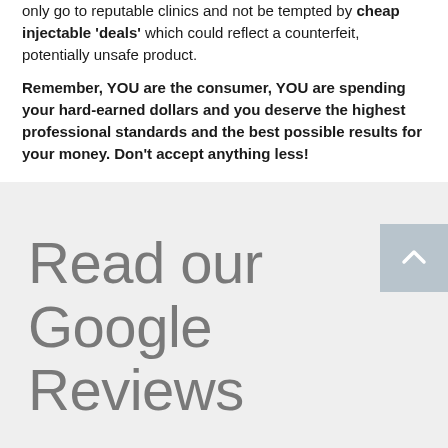only go to reputable clinics and not be tempted by cheap injectable 'deals' which could reflect a counterfeit, potentially unsafe product.
Remember, YOU are the consumer, YOU are spending your hard-earned dollars and you deserve the highest professional standards and the best possible results for your money. Don't accept anything less!
Read our Google Reviews